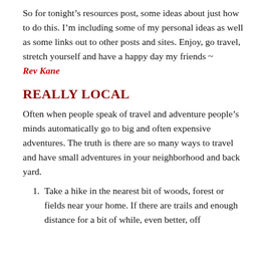So for tonight’s resources post, some ideas about just how to do this.  I’m including some of my personal ideas as well as some links out to other posts and sites.  Enjoy, go travel, stretch yourself and have a happy day my friends ~ Rev Kane
REALLY LOCAL
Often when people speak of travel and adventure people’s minds automatically go to big and often expensive adventures.  The truth is there are so many ways to travel and have small adventures in your neighborhood and back yard.
Take a hike in the nearest bit of woods, forest or fields near your home.  If there are trails and enough distance for a bit of while, even better, off